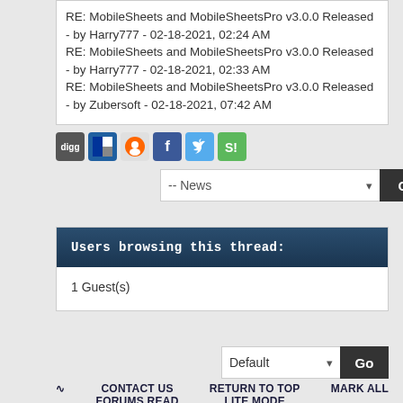RE: MobileSheets and MobileSheetsPro v3.0.0 Released - by Harry777 - 02-18-2021, 02:24 AM
RE: MobileSheets and MobileSheetsPro v3.0.0 Released - by Harry777 - 02-18-2021, 02:33 AM
RE: MobileSheets and MobileSheetsPro v3.0.0 Released - by Zubersoft - 02-18-2021, 07:42 AM
[Figure (screenshot): Row of social sharing icon buttons: digg, delicious, reddit, facebook, twitter, stumbleupon]
-- News  [dropdown]  Go
Users browsing this thread:
1 Guest(s)
Default [dropdown]  Go
RSS  CONTACT US  RETURN TO TOP  MARK ALL  FORUMS READ  LITE MODE